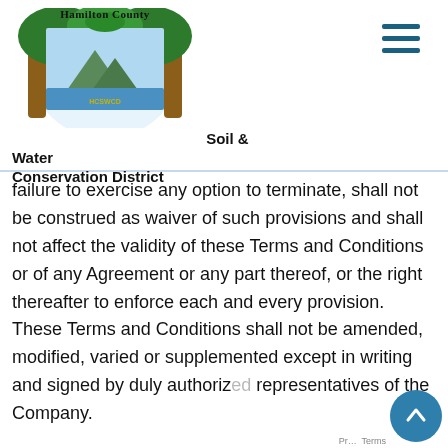[Figure (logo): Hamilton County Soil & Water Conservation District logo — circular emblem with arch of trees framing a landscape scene with mountains and water, with organization name text below]
failure to exercise any option to terminate, shall not be construed as waiver of such provisions and shall not affect the validity of these Terms and Conditions or of any Agreement or any part thereof, or the right thereafter to enforce each and every provision. These Terms and Conditions shall not be amended, modified, varied or supplemented except in writing and signed by duly authorized representatives of the Company.